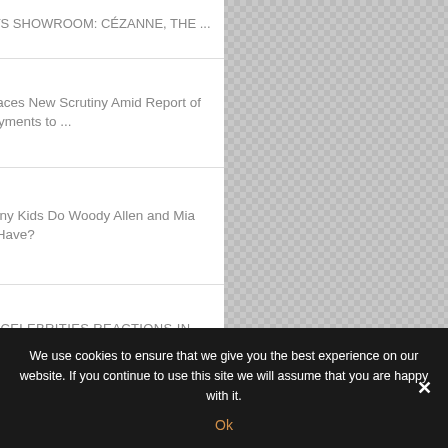[Figure (screenshot): Partial article thumbnail showing dark figures]
SELECTS SHOWROOM: CÉZANNE, THE ...
[Figure (photo): Golden Globe award trophy photo]
HFPA Faces New Scrutiny Amid Report of High Payments to ...
[Figure (photo): Group photo of people including Woody Allen and Mia Farrow]
How Many Kids Do Woody Allen and Mia Farrow Have?
[Figure (photo): Funny celebrities reactions in sports games thumbnail]
FUNNY CELEBRITIES REACTIONS IN SPORTS GAMES
We use cookies to ensure that we give you the best experience on our website. If you continue to use this site we will assume that you are happy with it. Ok